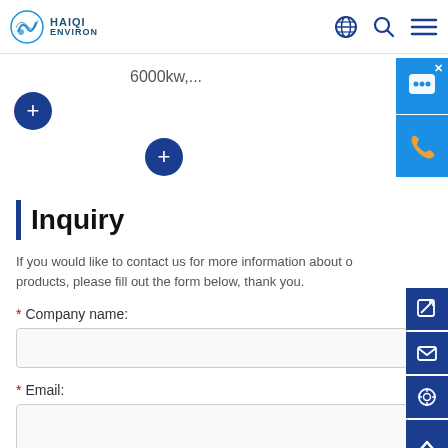HAIQI ENVIRON
6000kw,...
Inquiry
If you would like to contact us for more information about our products, please fill out the form below, thank you.
* Company name:
* Email:
Tel: